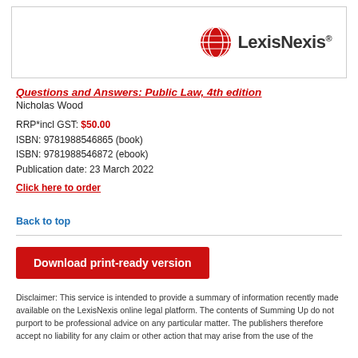[Figure (logo): LexisNexis logo with red globe icon and 'LexisNexis' text in bold]
Questions and Answers: Public Law, 4th edition
Nicholas Wood
RRP*incl GST: $50.00
ISBN: 9781988546865 (book)
ISBN: 9781988546872 (ebook)
Publication date: 23 March 2022
Click here to order
Back to top
Download print-ready version
Disclaimer: This service is intended to provide a summary of information recently made available on the LexisNexis online legal platform. The contents of Summing Up do not purport to be professional advice on any particular matter. The publishers therefore accept no liability for any claim or other action that may arise from the use of the